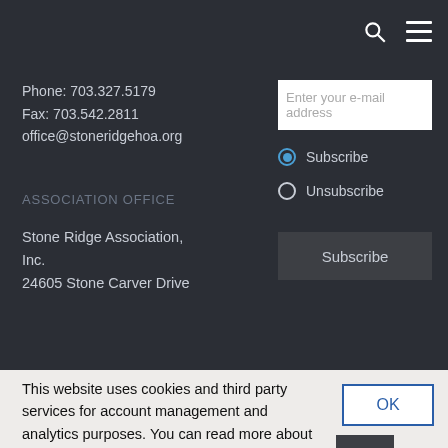Navigation bar with search and menu icons
Phone: 703.327.5179
Fax: 703.542.2811
office@stoneridgehoa.org
ASSOCIATION OFFICE
Stone Ridge Association, Inc.
24605 Stone Carver Drive
Enter your e-mail address
Subscribe
Unsubscribe
Subscribe
This website uses cookies and third party services for account management and analytics purposes. You can read more about how we use cookies by reviewing our privacy policy. By continuing to use this site, you consent to our use of cookies and third-party services.
OK